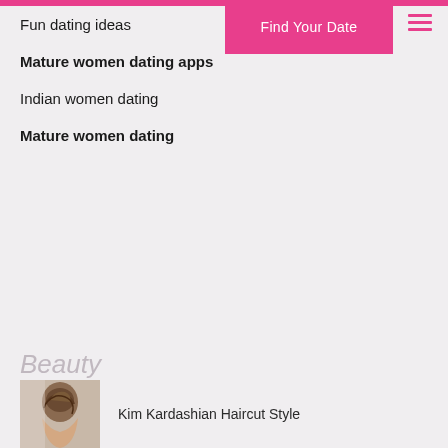Fun dating ideas
Mature women dating apps
Indian women dating
Mature women dating
[Figure (other): Pink button labeled Find Your Date]
[Figure (other): Hamburger menu icon with three pink horizontal lines]
Beauty
[Figure (photo): Person with brown hair pulled up, back of head visible]
Kim Kardashian Haircut Style